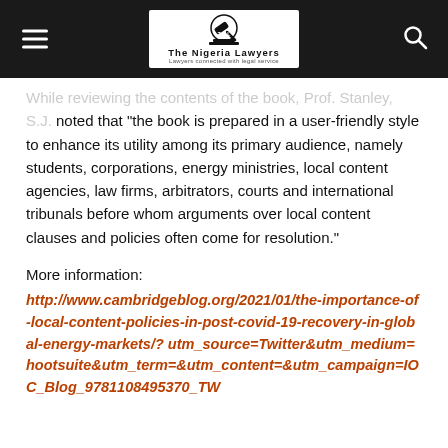The Nigeria Lawyers
While reviewing the contents of the book, Prof. Stanley, S.J. noted that “the book is prepared in a user-friendly style to enhance its utility among its primary audience, namely students, corporations, energy ministries, local content agencies, law firms, arbitrators, courts and international tribunals before whom arguments over local content clauses and policies often come for resolution.”
More information:
http://www.cambridgeblog.org/2021/01/the-importance-of-local-content-policies-in-post-covid-19-recovery-in-global-energy-markets/?utm_source=Twitter&utm_medium=hootsuite&utm_term=&utm_content=&utm_campaign=IOC_Blog_9781108495370_TW